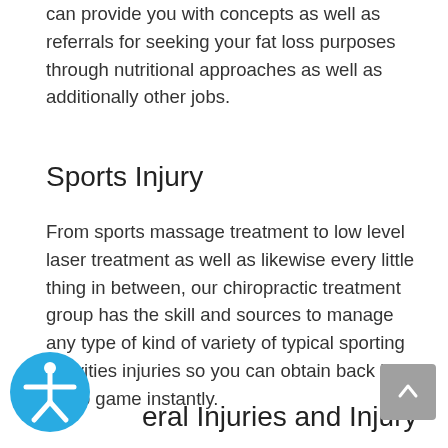can provide you with concepts as well as referrals for seeking your fat loss purposes through nutritional approaches as well as additionally other jobs.
Sports Injury
From sports massage treatment to low level laser treatment as well as likewise every little thing in between, our chiropractic treatment group has the skill and sources to manage any type of kind of variety of typical sporting activities injuries so you can obtain back in the video game instantly.
General Injuries and Injury